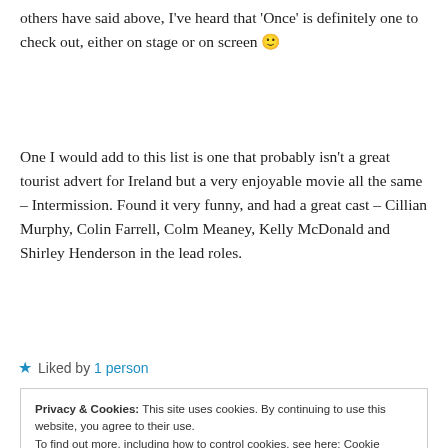others have said above, I've heard that 'Once' is definitely one to check out, either on stage or on screen 🙂
One I would add to this list is one that probably isn't a great tourist advert for Ireland but a very enjoyable movie all the same – Intermission. Found it very funny, and had a great cast – Cillian Murphy, Colin Farrell, Colm Meaney, Kelly McDonald and Shirley Henderson in the lead roles.
★ Liked by 1 person
Privacy & Cookies: This site uses cookies. By continuing to use this website, you agree to their use. To find out more, including how to control cookies, see here: Cookie Policy Close and accept